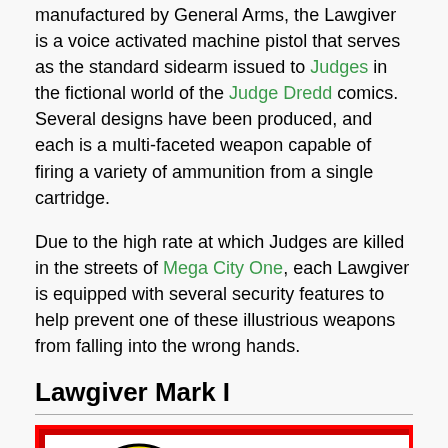manufactured by General Arms, the Lawgiver is a voice activated machine pistol that serves as the standard sidearm issued to Judges in the fictional world of the Judge Dredd comics. Several designs have been produced, and each is a multi-faceted weapon capable of firing a variety of ammunition from a single cartridge.
Due to the high rate at which Judges are killed in the streets of Mega City One, each Lawgiver is equipped with several security features to help prevent one of these illustrious weapons from falling into the wrong hands.
Lawgiver Mark I
[Figure (illustration): Comic book style illustration of Judge Dredd's Law-Giver: The Justice Gun. Shows Judge Dredd figure holding the gun, with yellow circle background, red border, and stylized text 'JUDGE DREDD'S LAW-GIVER THE JUSTICE GUN' with orange/yellow lettering. Bottom portion shows schematic diagram of the gun.]